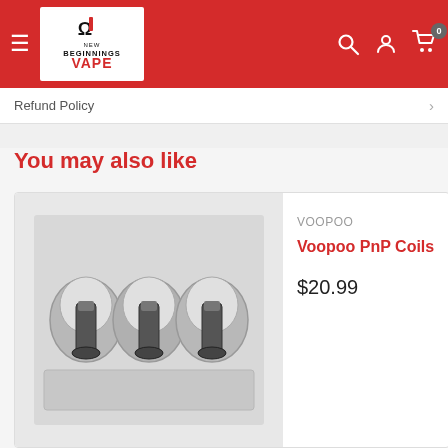New Beginnings Vape
Refund Policy
You may also like
[Figure (photo): Photo of Voopoo PnP Coils product — three cylindrical coil units in blister packaging]
VOOPOO
Voopoo PnP Coils
$20.99